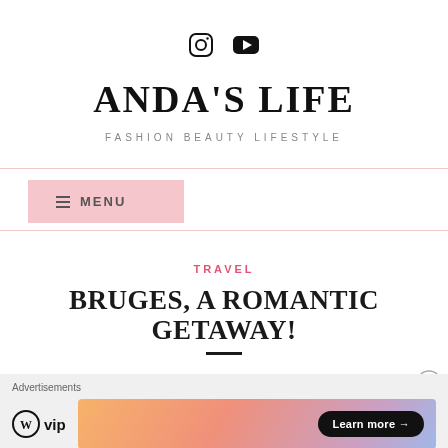[Figure (logo): Social media icons: Instagram and YouTube]
ANDA'S LIFE
FASHION BEAUTY LIFESTYLE
≡ MENU
TRAVEL
BRUGES, A ROMANTIC GETAWAY!
Advertisements
[Figure (logo): WordPress VIP logo and advertisement banner with Learn more button]